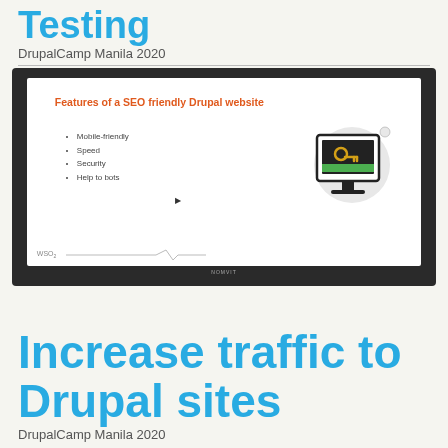Testing
DrupalCamp Manila 2020
[Figure (screenshot): A presentation slide screenshot showing 'Features of a SEO friendly Drupal website' with bullet points: Mobile-friendly, Speed, Security, Help to bots, and a monitor icon with a key symbol. Displayed on a dark screen/projector.]
Increase traffic to Drupal sites
DrupalCamp Manila 2020